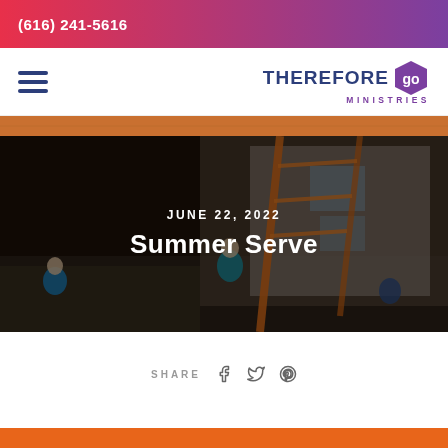(616) 241-5616
[Figure (logo): Therefore Go Ministries logo with hamburger menu icon]
[Figure (photo): Aerial view of people working on a house exterior, dark overlay with orange tinted banner]
JUNE 22, 2022
Summer Serve
SHARE